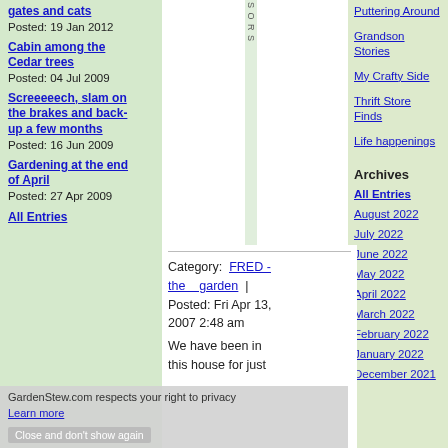gates and cats
Posted: 19 Jan 2012
Cabin among the Cedar trees
Posted: 04 Jul 2009
Screeeeech, slam on the brakes and back-up a few months
Posted: 16 Jun 2009
Gardening at the end of April
Posted: 27 Apr 2009
All Entries
Puttering Around
Grandson Stories
My Crafty Side
Thrift Store Finds
Life happenings
Archives
All Entries
August 2022
July 2022
June 2022
May 2022
April 2022
March 2022
February 2022
January 2022
December 2021
Category:  FRED - the garden  |  Posted: Fri Apr 13, 2007 2:48 am
We have been in this house for just
GardenStew.com respects your right to privacy
Learn more
Close and don't show again